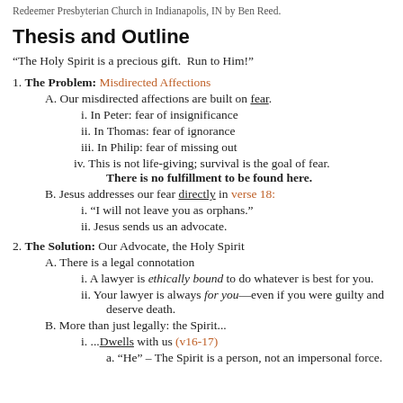Redeemer Presbyterian Church in Indianapolis, IN by Ben Reed.
Thesis and Outline
“The Holy Spirit is a precious gift.  Run to Him!”
1. The Problem: Misdirected Affections
A. Our misdirected affections are built on fear.
i. In Peter: fear of insignificance
ii. In Thomas: fear of ignorance
iii. In Philip: fear of missing out
iv. This is not life-giving; survival is the goal of fear. There is no fulfillment to be found here.
B. Jesus addresses our fear directly in verse 18:
i. “I will not leave you as orphans.”
ii. Jesus sends us an advocate.
2. The Solution: Our Advocate, the Holy Spirit
A. There is a legal connotation
i. A lawyer is ethically bound to do whatever is best for you.
ii. Your lawyer is always for you—even if you were guilty and deserve death.
B. More than just legally: the Spirit...
i. ...Dwells with us (v16-17)
a. “He” – The Spirit is a person, not an impersonal force.